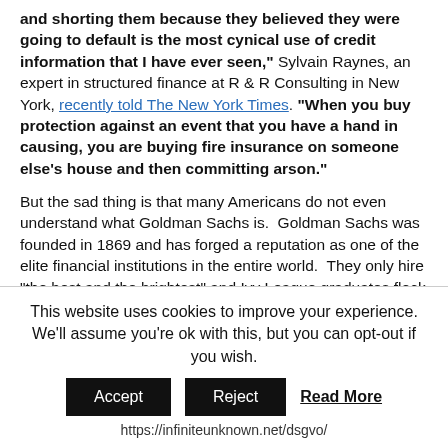and shorting them because they believed they were going to default is the most cynical use of credit information that I have ever seen," Sylvain Raynes, an expert in structured finance at R & R Consulting in New York, recently told The New York Times. "When you buy protection against an event that you have a hand in causing, you are buying fire insurance on someone else's house and then committing arson."
But the sad thing is that many Americans do not even understand what Goldman Sachs is. Goldman Sachs was founded in 1869 and has forged a reputation as one of the elite financial institutions in the entire world. They only hire "the best and the brightest" and Ivy League graduates flock to the firm. Of the five major investment banks that dominated Wall Street before the crash, only Goldman Sachs and Morgan Stanley have survived. Merrill Lynch and Bear Stearns were severely damaged by the crash and ended up being purchased by
This website uses cookies to improve your experience. We'll assume you're ok with this, but you can opt-out if you wish.
Accept  Reject  Read More
https://infiniteunknown.net/dsgvo/